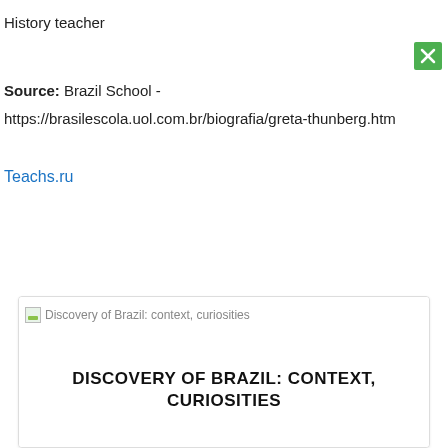History teacher
Source: Brazil School -
https://brasilescola.uol.com.br/biografia/greta-thunberg.htm
Teachs.ru
[Figure (screenshot): Bottom card with broken image icon and text: Discovery of Brazil: context, curiosities, and bold heading DISCOVERY OF BRAZIL: CONTEXT, CURIOSITIES]
DISCOVERY OF BRAZIL: CONTEXT, CURIOSITIES